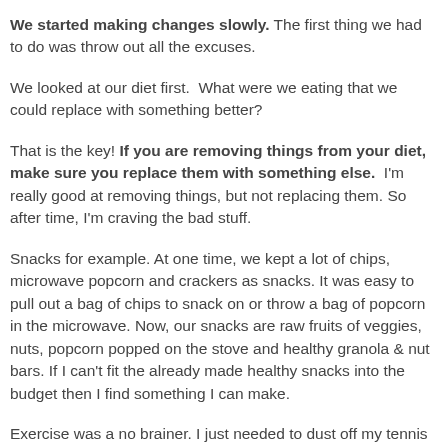We started making changes slowly. The first thing we had to do was throw out all the excuses.
We looked at our diet first. What were we eating that we could replace with something better?
That is the key! If you are removing things from your diet, make sure you replace them with something else. I'm really good at removing things, but not replacing them. So after time, I'm craving the bad stuff.
Snacks for example. At one time, we kept a lot of chips, microwave popcorn and crackers as snacks. It was easy to pull out a bag of chips to snack on or throw a bag of popcorn in the microwave. Now, our snacks are raw fruits of veggies, nuts, popcorn popped on the stove and healthy granola & nut bars. If I can't fit the already made healthy snacks into the budget then I find something I can make.
Exercise was a no brainer. I just needed to dust off my tennis shoes and walk. No gym memberships. No trainer hired to kick my butt everyday. Just get out of the house & put my